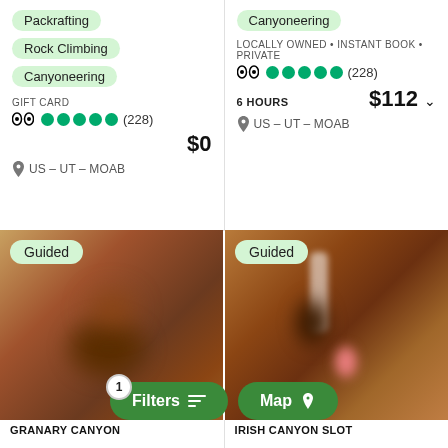Packrafting
Rock Climbing
Canyoneering
GIFT CARD
⊙⊙ ●●●●● (228)
$0
US - UT - MOAB
Canyoneering
LOCALLY OWNED • INSTANT BOOK • PRIVATE
⊙⊙ ●●●●● (228)
6 HOURS   $112
US - UT - MOAB
[Figure (photo): Blurry photo of reddish-brown canyon rock formation, with a dark blob shape in the center. A 'Guided' tag overlaid in top-left. Bottom shows 'GRANARY CANYON' title partially.]
[Figure (photo): Blurry photo of a slot canyon with reddish-brown walls, a white rope or figure descending, and a person in pink visible. A 'Guided' tag overlaid in top-left. Bottom shows 'IRISH CANYON SLOT' title partially.]
1 Filters
Map
GRANARY CANYON
IRISH CANYON SLOT